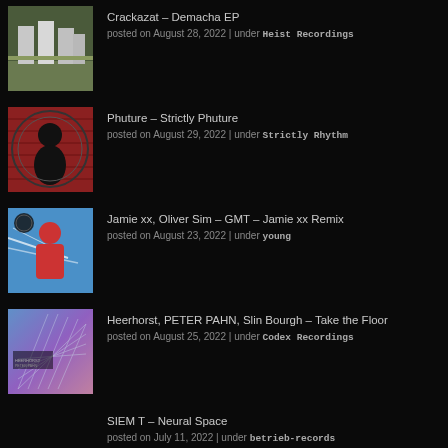[Figure (photo): Album art thumbnail: industrial silos/grain storage in a field, muted daylight photo]
Crackazat – Demacha EP
posted on August 28, 2022 | under Heist Recordings
[Figure (photo): Album art thumbnail: DJ Pierre portrait on red brick background with circular text design]
Phuture – Strictly Phuture
posted on August 29, 2022 | under Strictly Rhythm
[Figure (photo): Album art thumbnail: person in red top against blue background with white light streaks]
Jamie xx, Oliver Sim – GMT – Jamie xx Remix
posted on August 23, 2022 | under young
[Figure (photo): Album art thumbnail: abstract geometric mesh/net on gradient blue-purple background]
Heerhorst, PETER PAHN, Slin Bourgh – Take the Floor
posted on August 25, 2022 | under Codex Recordings
SIEM T – Neural Space
posted on July 11, 2022 | under betrieb-records